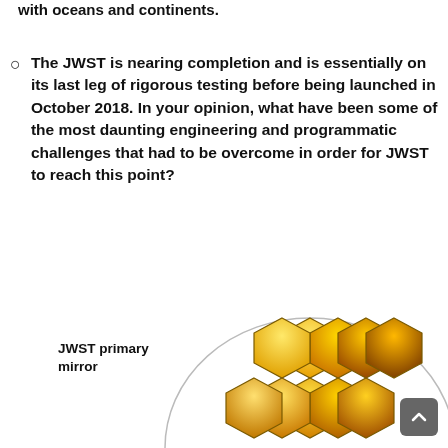with oceans and continents.
The JWST is nearing completion and is essentially on its last leg of rigorous testing before being launched in October 2018. In your opinion, what have been some of the most daunting engineering and programmatic challenges that had to be overcome in order for JWST to reach this point?
[Figure (illustration): Illustration of the JWST primary mirror showing hexagonal gold mirror segments arranged in a circular pattern, partially visible at the bottom of the page. A label reads 'JWST primary mirror'.]